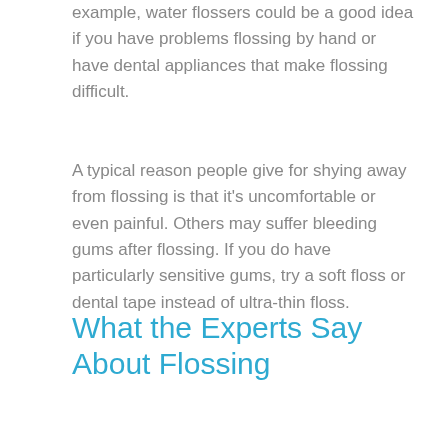example, water flossers could be a good idea if you have problems flossing by hand or have dental appliances that make flossing difficult.
A typical reason people give for shying away from flossing is that it's uncomfortable or even painful. Others may suffer bleeding gums after flossing. If you do have particularly sensitive gums, try a soft floss or dental tape instead of ultra-thin floss.
What the Experts Say About Flossing